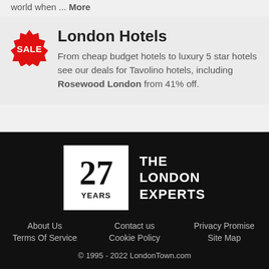world when ... More
London Hotels
From cheap budget hotels to luxury 5 star hotels see our deals for Tavolino hotels, including Rosewood London from 41% off.
[Figure (logo): 27 YEARS THE LONDON EXPERTS logo]
About Us
Contact us
Privacy Promise
Terms Of Service
Cookie Policy
Site Map
© 1995 - 2022 LondonTown.com